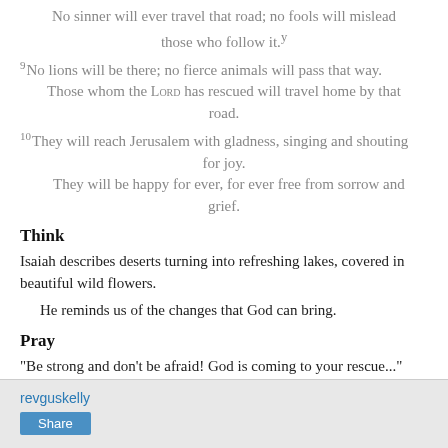No sinner will ever travel that road; no fools will mislead those who follow it.y
9No lions will be there; no fierce animals will pass that way. Those whom the LORD has rescued will travel home by that road.
10They will reach Jerusalem with gladness, singing and shouting for joy. They will be happy for ever, for ever free from sorrow and grief.
Think
Isaiah describes deserts turning into refreshing lakes, covered in beautiful wild flowers.
He reminds us of the changes that God can bring.
Pray
"Be strong and don't be afraid! God is coming to your rescue..." - Verse 4
revguskelly
Share